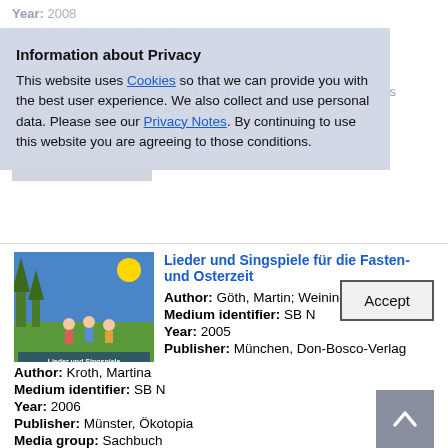Information about Privacy
This website uses Cookies so that we can provide you with the best user experience. We also collect and use personal data. Please see our Privacy Notes. By continuing to use this website you are agreeing to those conditions.
Accept
Author: Kroth, Martina
Medium identifier: SB N
Year: 2006
Publisher: Münster, Ökotopia
Media group: Sachbuch
available
[Figure (illustration): Book cover for Lieder und Singspiele für die Fasten- und Osterzeit showing children on grass with musical imagery]
Lieder und Singspiele für die Fasten- und Osterzeit
Author: Göth, Martin; Weininger, Paul
Medium identifier: SB N
Year: 2005
Publisher: München, Don-Bosco-Verlag